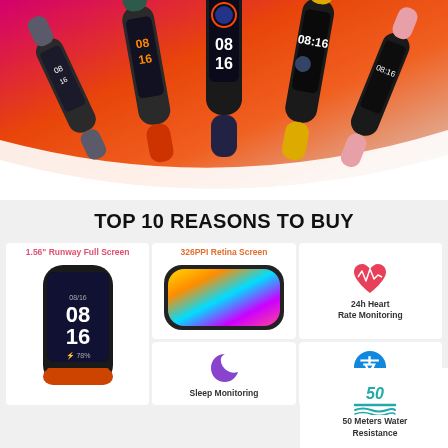[Figure (photo): Five Xiaomi Mi Band 6 smartwatches in different colors (dark green, slate blue/orange, black/dark with colorful screen, yellow, pink) displayed against a pink-red gradient background]
TOP 10 REASONS TO BUY
[Figure (photo): Xiaomi Mi Band 6 fitness tracker with orange band showing digital clock display 08:16]
1.56" Runway Full Screen
[Figure (photo): Close-up of a curved display showing colorful swirling abstract image representing 326PPI Retina Screen]
326PPI Retina Screen
[Figure (illustration): Pink heart rate monitor icon with ECG line]
24h Heart Rate Monitoring
[Figure (illustration): Purple crescent moon icon representing Sleep Monitoring]
Sleep Monitoring
[Figure (illustration): Blue Alipay logo icon representing Offline Payment]
Offline Payment
[Figure (illustration): Teal/cyan 50 meters water resistance icon with wave lines]
50 Meters Water Resistance